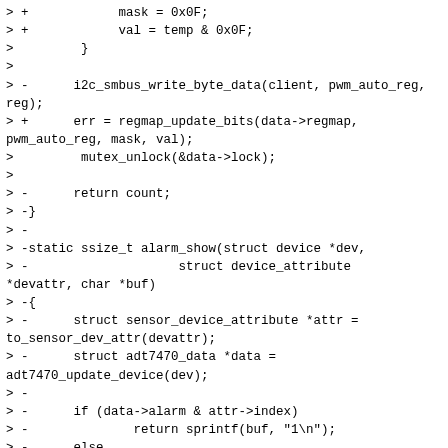> +            mask = 0x0F;
> +            val = temp & 0x0F;
>         }
>
> -      i2c_smbus_write_byte_data(client, pwm_auto_reg, reg);
> +      err = regmap_update_bits(data->regmap, pwm_auto_reg, mask, val);
>         mutex_unlock(&data->lock);
>
> -      return count;
> -}
> -
> -static ssize_t alarm_show(struct device *dev,
> -                    struct device_attribute *devattr, char *buf)
> -{
> -      struct sensor_device_attribute *attr = to_sensor_dev_attr(devattr);
> -      struct adt7470_data *data = adt7470_update_device(dev);
> -
> -      if (data->alarm & attr->index)
> -              return sprintf(buf, "1\n");
> -      else
> -              return sprintf(buf, "0\n");
> +      return err < 0 ? err : count;
>   }
>
>   static DEVICE_ATTR_RW(alarm_mask);